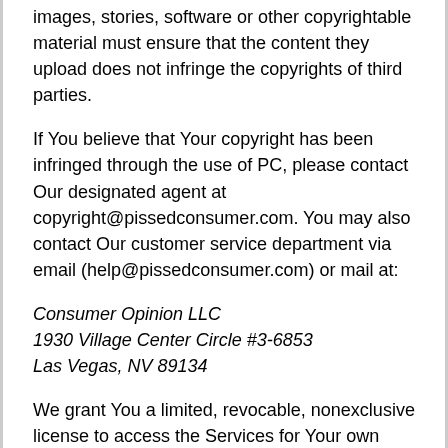images, stories, software or other copyrightable material must ensure that the content they upload does not infringe the copyrights of third parties.
If You believe that Your copyright has been infringed through the use of PC, please contact Our designated agent at copyright@pissedconsumer.com. You may also contact Our customer service department via email (help@pissedconsumer.com) or mail at:
Consumer Opinion LLC
1930 Village Center Circle #3-6853
Las Vegas, NV 89134
We grant You a limited, revocable, nonexclusive license to access the Services for Your own personal use. This license does not include any collection, aggregation, copying, duplication, display or derivative use of the Services nor any use of data